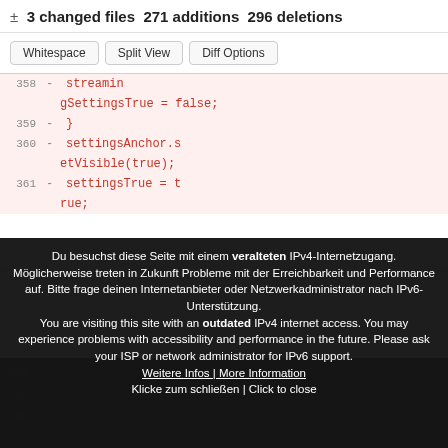± 3 changed files 271 additions 296 deletions
[Figure (screenshot): Diff view buttons: Whitespace, Split View, Diff Options]
358  -  streamingSettingsTrue = false;
359  -  }
360  -  settingsAnchor.setVisible(true);
361  -  settingsTrue = true;
Du besuchst diese Seite mit einem veralteten IPv4-Internetzugang. Möglicherweise treten in Zukunft Probleme mit der Erreichbarkeit und Performance auf. Bitte frage deinen Internetanbieter oder Netzwerkadministrator nach IPv6-Unterstützung.
You are visiting this site with an outdated IPv4 internet access. You may experience problems with accessibility and performance in the future. Please ask your ISP or network administrator for IPv6 support.
Weitere Infos | More Information
Klicke zum schließen | Click to close